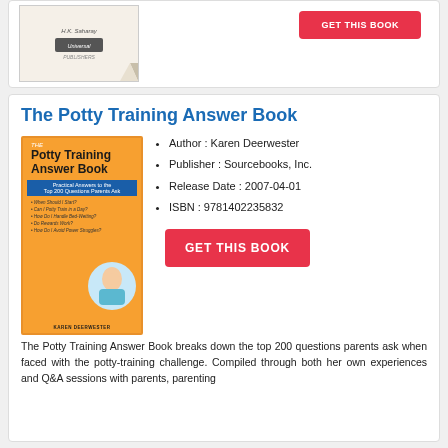[Figure (photo): Book cover thumbnail partially visible at top of page with author name H.K. Saharay and publisher logo]
The Potty Training Answer Book
[Figure (photo): Book cover of The Potty Training Answer Book by Karen Deerwester, orange cover with child image]
Author : Karen Deerwester
Publisher : Sourcebooks, Inc.
Release Date : 2007-04-01
ISBN : 9781402235832
GET THIS BOOK
The Potty Training Answer Book breaks down the top 200 questions parents ask when faced with the potty-training challenge. Compiled through both her own experiences and Q&A sessions with parents, parenting expert Karen Deerwester covers the difficult and frequent